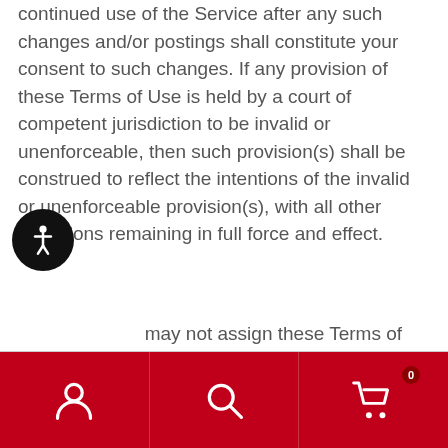continued use of the Service after any such changes and/or postings shall constitute your consent to such changes. If any provision of these Terms of Use is held by a court of competent jurisdiction to be invalid or unenforceable, then such provision(s) shall be construed to reflect the intentions of the invalid or unenforceable provision(s), with all other provisions remaining in full force and effect.
may not assign these Terms of Use without the prior written approval of the Company. Any purported assignment in violation of this section shall be void. The Company reserves the right to use third party
[Figure (other): Accessibility icon button - circular black button with white person/accessibility symbol]
Bottom navigation bar with user account icon, search icon, and shopping cart icon (badge: 0)